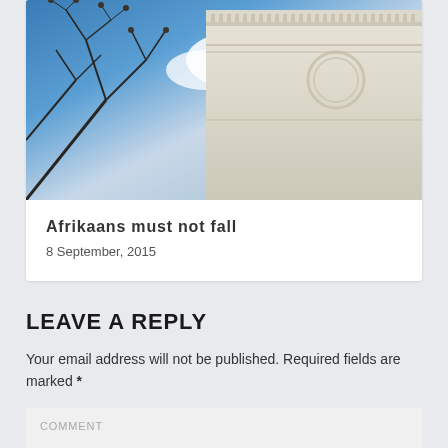[Figure (photo): Photograph of a white neoclassical building facade with ornate cornice and columns, shot from below against a blue sky with clouds, with bare tree branches visible in the foreground left]
Afrikaans must not fall
8 September, 2015
LEAVE A REPLY
Your email address will not be published. Required fields are marked *
COMMENT